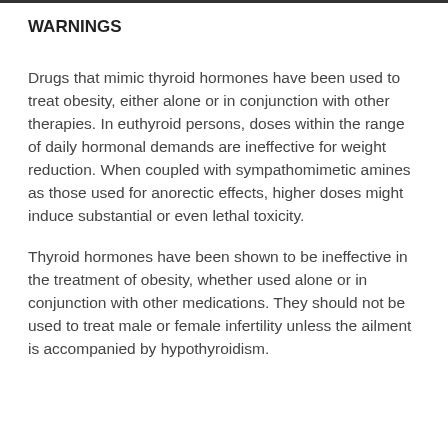WARNINGS
Drugs that mimic thyroid hormones have been used to treat obesity, either alone or in conjunction with other therapies. In euthyroid persons, doses within the range of daily hormonal demands are ineffective for weight reduction. When coupled with sympathomimetic amines as those used for anorectic effects, higher doses might induce substantial or even lethal toxicity.
Thyroid hormones have been shown to be ineffective in the treatment of obesity, whether used alone or in conjunction with other medications. They should not be used to treat male or female infertility unless the ailment is accompanied by hypothyroidism.